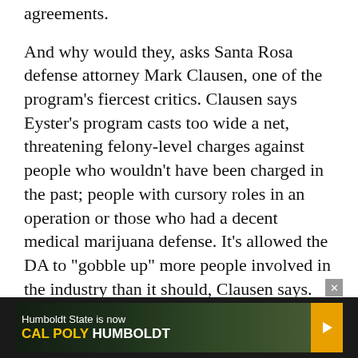agreements.
And why would they, asks Santa Rosa defense attorney Mark Clausen, one of the program's fiercest critics. Clausen says Eyster's program casts too wide a net, threatening felony-level charges against people who wouldn't have been charged in the past; people with cursory roles in an operation or those who had a decent medical marijuana defense. It's allowed the DA to "gobble up" more people involved in the industry than it should, Clausen says. And given the option of paying $20,000 or so to an attorney like himself and taking their chances at trial, or paying a little bit more to the DA and walking away with a misdemeanor, the choice is a "no-brainer."
From 2012, when the restitution program began, through
[Figure (infographic): Advertisement banner for Cal Poly Humboldt (formerly Humboldt State), shown at bottom of page with dark background, forest imagery, yellow arrow button, and close X button.]